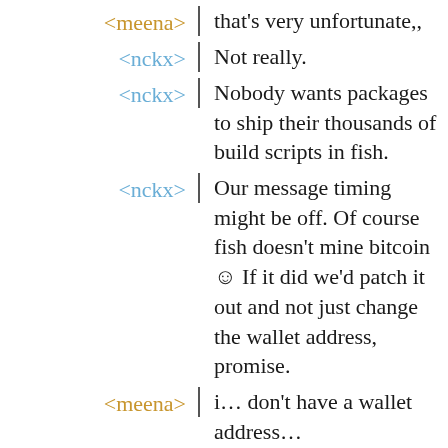<meena> that's very unfortunate,,
<nckx> Not really.
<nckx> Nobody wants packages to ship their thousands of build scripts in fish.
<nckx> Our message timing might be off. Of course fish doesn't mine bitcoin ☺ If it did we'd patch it out and not just change the wallet address, promise.
<meena> i… don't have a wallet address…